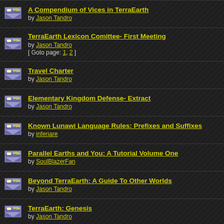A Compendium of Vices in TerraEarth by Jason Tandro
TerraEarth Lexicon Comittee- First Meeting by Jason Tandro [ Goto page: 1, 2 ]
Travel Charter by Jason Tandro
Elementary Kingdom Defense- Extract by Jason Tandro
Known Lunawi Language Rules: Prefixes and Suffixes by inferiare
Parallel Earths and You: A Tutorial Volume One by SoulBlazerFan
Beyond TerraEarth: A Guide To Other Worlds by Jason Tandro
TerraEarth: Genesis by Jason Tandro
Assignments: Help Contribute to the Canon! by Jason Tandro
The Territory Incident: A Brief Historical Account